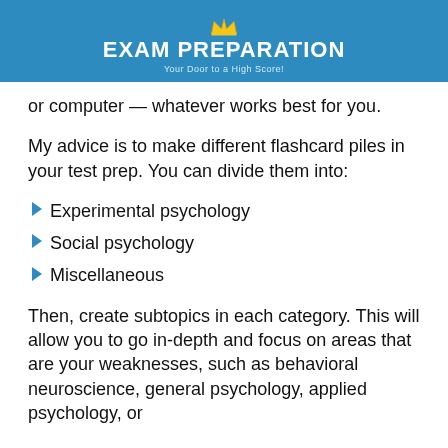EXAM PREPARATION — Your Door to a High Score!
or computer — whatever works best for you.
My advice is to make different flashcard piles in your test prep. You can divide them into:
Experimental psychology
Social psychology
Miscellaneous
Then, create subtopics in each category. This will allow you to go in-depth and focus on areas that are your weaknesses, such as behavioral neuroscience, general psychology, applied psychology, or